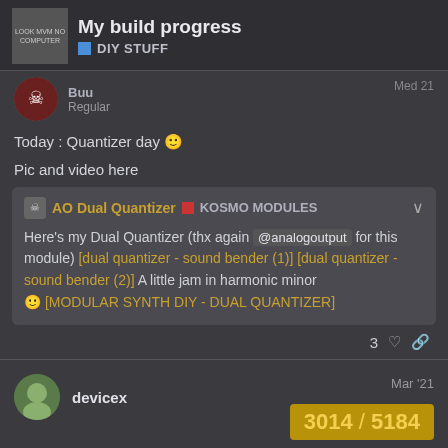My build progress | DIY STUFF
Buu
Regular
Med 21
Today : Quantizer day 🙂
Pic and video here
AO Dual Quantizer ■ KOSMO MODULES
Here's my Dual Quantizer (thx again @analogoutput for this module) [dual quantizer - sound bender (1)] [dual quantizer - sound bender (2)] A little jam in harmonic minor 🙂 [MODULAR SYNTH DIY - DUAL QUANTIZER]
3 ♡ 🔗
devicex
Mar '21
3014 / 5184